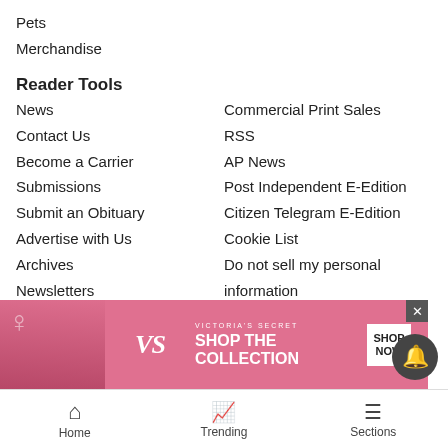Pets
Merchandise
Reader Tools
News
Commercial Print Sales
Contact Us
RSS
Become a Carrier
AP News
Submissions
Post Independent E-Edition
Submit an Obituary
Citizen Telegram E-Edition
Advertise with Us
Cookie List
Archives
Do not sell my personal information
Newsletters
News Neighbors
Aspen-Snowmass
Vail-Eagle Valley
Breckenridge-Summit County
Winter Park-Granby-Grand County
Craig-Moffat County
Park City
Steamboat...County
[Figure (photo): Victoria's Secret advertisement banner with model and shop now button]
Home   Trending   Sections